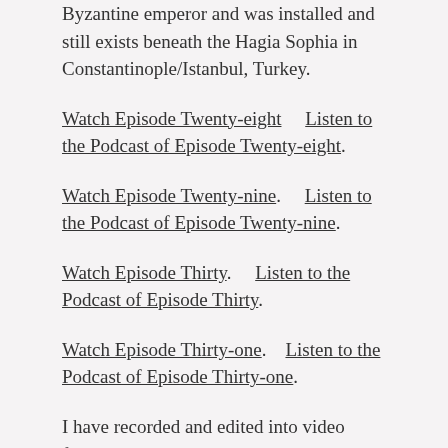Byzantine emperor and was installed and still exists beneath the Hagia Sophia in Constantinople/Istanbul, Turkey.
Watch Episode Twenty-eight    Listen to the Podcast of Episode Twenty-eight.
Watch Episode Twenty-nine.    Listen to the Podcast of Episode Twenty-nine.
Watch Episode Thirty.    Listen to the Podcast of Episode Thirty.
Watch Episode Thirty-one.    Listen to the Podcast of Episode Thirty-one.
I have recorded and edited into video format